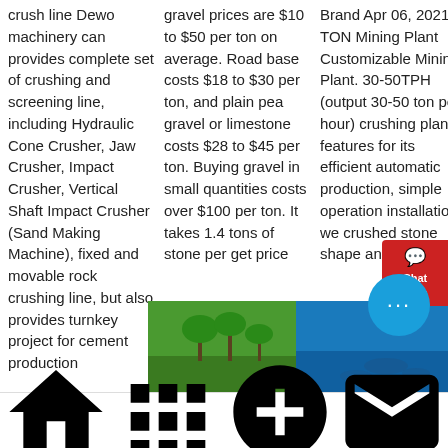crush line Dewo machinery can provides complete set of crushing and screening line, including Hydraulic Cone Crusher, Jaw Crusher, Impact Crusher, Vertical Shaft Impact Crusher (Sand Making Machine), fixed and movable rock crushing line, but also provides turnkey project for cement production
gravel prices are $10 to $50 per ton on average. Road base costs $18 to $30 per ton, and plain pea gravel or limestone costs $28 to $45 per ton. Buying gravel in small quantities costs over $100 per ton. It takes 1.4 tons of stone per get price
Brand Apr 06, 2021 TON Mining Plant Customizable Mining Plant. 30-50TPH (output 30-50 ton per hour) crushing plant features for its efficient automatic production, simple operation installation, we crushed stone shape and get price
[Figure (photo): Photo of a green tropical landscape with palm trees]
[Figure (photo): Photo with blue water/ocean background]
Home  Product  Cases  Contact